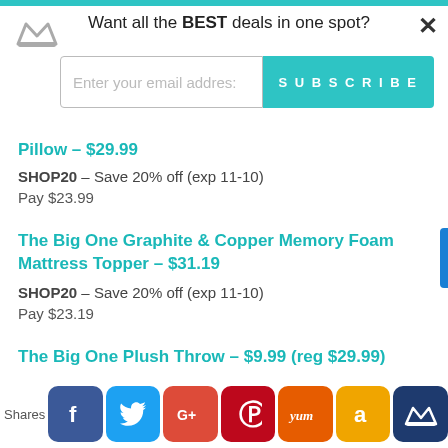Want all the BEST deals in one spot?
Enter your email address
SUBSCRIBE
Pillow – $29.99
SHOP20 – Save 20% off (exp 11-10)
Pay $23.99
The Big One Graphite & Copper Memory Foam Mattress Topper – $31.19
SHOP20 – Save 20% off (exp 11-10)
Pay $23.19
The Big One Plush Throw – $9.99 (reg $29.99)
Use Coupon Code SHOP20 (save 20% off exp
Shares